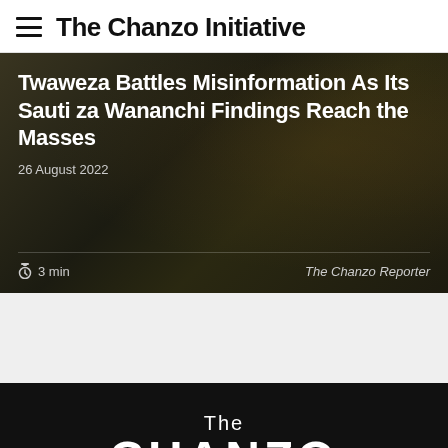The Chanzo Initiative
Twaweza Battles Misinformation As Its Sauti za Wananchi Findings Reach the Masses
26 August 2022
3 min   The Chanzo Reporter
[Figure (logo): The Chanzo Initiative logo in white text on black background, showing 'The' in regular weight and 'CHANZO' in bold large text]